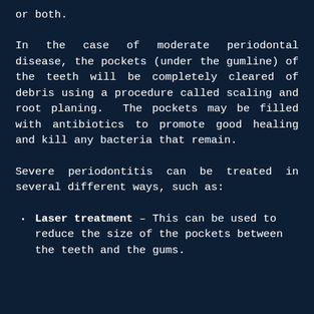or both.
In the case of moderate periodontal disease, the pockets (under the gumline) of the teeth will be completely cleared of debris using a procedure called scaling and root planing. The pockets may be filled with antibiotics to promote good healing and kill any bacteria that remain.
Severe periodontitis can be treated in several different ways, such as:
Laser treatment – This can be used to reduce the size of the pockets between the teeth and the gums.